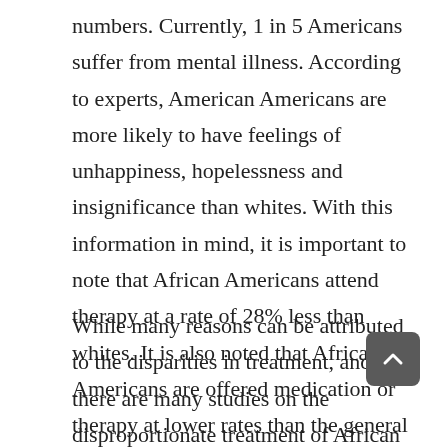numbers. Currently, 1 in 5 Americans suffer from mental illness. According to experts, American Americans are more likely to have feelings of unhappiness, hopelessness and insignificance than whites. With this information in mind, it is important to note that African Americans attend therapy at a rate of 28% less than whites. It is also noted that African Americans are offered medication or therapy at lower rates than the general population.
While many reasons can be attributed to the disparities in treatment, and there are many studies on the disproportionate treatment of African Americans in the health care industry, there are less than 2% of mental health practitioners in the American Psychological Association. The cultural competence of mental health